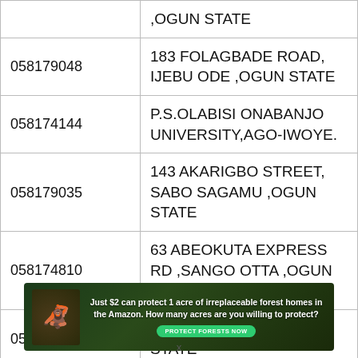| ID | Address |
| --- | --- |
|  | ,OGUN STATE |
| 058179048 | 183 FOLAGBADE ROAD, IJEBU ODE ,OGUN STATE |
| 058174144 | P.S.OLABISI ONABANJO UNIVERSITY,AGO-IWOYE. |
| 058179035 | 143 AKARIGBO STREET, SABO SAGAMU ,OGUN STATE |
| 058174810 | 63 ABEOKUTA EXPRESS RD ,SANGO OTTA ,OGUN STATE |
| 058179129 | RCCG, MOWE, OGUN STATE |
[Figure (other): Advertisement banner: 'Just $2 can protect 1 acre of irreplaceable forest homes in the Amazon. How many acres are you willing to protect?' with a PROTECT FORESTS NOW button and forest imagery.]
x